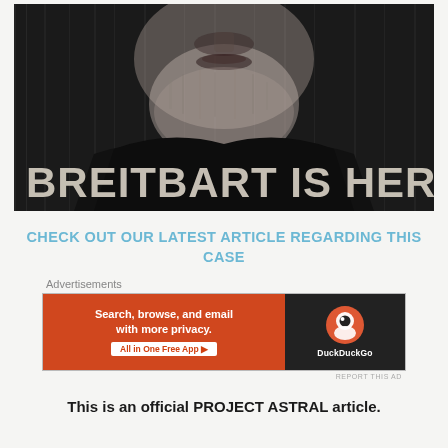[Figure (illustration): Black and white stylized image of a bearded man's face with text overlay 'BREITBART IS HERE' in large stencil-style letters]
CHECK OUT OUR LATEST ARTICLE REGARDING THIS CASE
Advertisements
[Figure (screenshot): DuckDuckGo advertisement banner: 'Search, browse, and email with more privacy. All in One Free App' with DuckDuckGo logo on dark right panel]
REPORT THIS AD
This is an official PROJECT ASTRAL article.